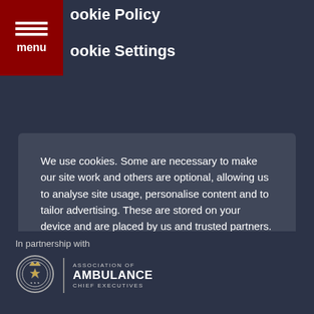Cookie Policy | Cookie Settings
We use cookies. Some are necessary to make our site work and others are optional, allowing us to analyse site usage, personalise content and to tailor advertising. These are stored on your device and are placed by us and trusted partners. Find out more in our cookie policy.
OK
Manage cookies
In partnership with
[Figure (logo): Association of Ambulance Chief Executives logo with circular badge emblem]